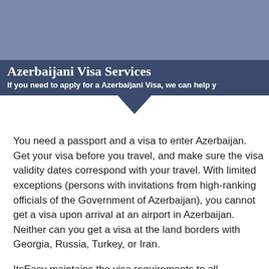[Figure (illustration): Bluish-gray banner image area at top of page]
Azerbaijani Visa Services
If you need to apply for a Azerbaijani Visa, we can help y
You need a passport and a visa to enter Azerbaijan. Get your visa before you travel, and make sure the visa validity dates correspond with your travel. With limited exceptions (persons with invitations from high-ranking officials of the Government of Azerbaijan), you cannot get a visa upon arrival at an airport in Azerbaijan. Neither can you get a visa at the land borders with Georgia, Russia, Turkey, or Iran.
ItsEasy maintains the visa requirements to all countries,